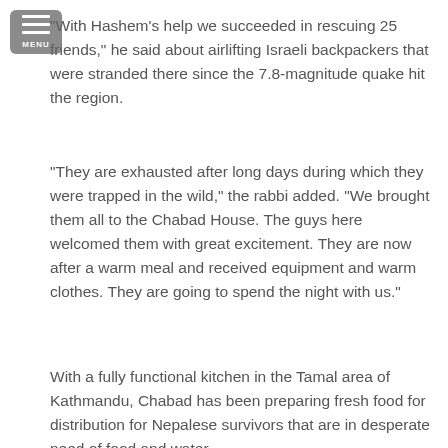"With Hashem's help we succeeded in rescuing 25 friends," he said about airlifting Israeli backpackers that were stranded there since the 7.8-magnitude quake hit the region.
"They are exhausted after long days during which they were trapped in the wild," the rabbi added. "We brought them all to the Chabad House. The guys here welcomed them with great excitement. They are now after a warm meal and received equipment and warm clothes. They are going to spend the night with us."
With a fully functional kitchen in the Tamal area of Kathmandu, Chabad has been preparing fresh food for distribution for Nepalese survivors that are in desperate need of food and water.
[Figure (photo): Aerial or ground-level photograph of mountainous terrain in Nepal with green forested hills, cloudy misty sky, and what appears to be helicopter rotor blades visible in the foreground bottom of the image.]